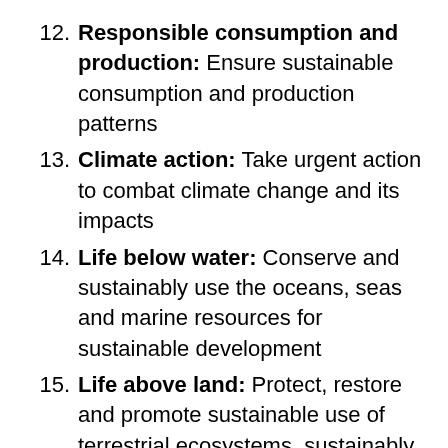12. Responsible consumption and production: Ensure sustainable consumption and production patterns
13. Climate action: Take urgent action to combat climate change and its impacts
14. Life below water: Conserve and sustainably use the oceans, seas and marine resources for sustainable development
15. Life above land: Protect, restore and promote sustainable use of terrestrial ecosystems, sustainably manage forests, combat desertification, and halt and